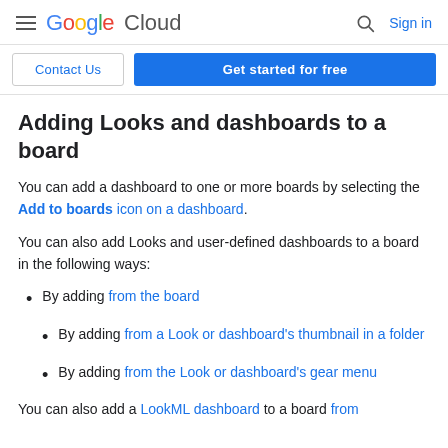Google Cloud | Sign in
Contact Us | Get started for free
Adding Looks and dashboards to a board
You can add a dashboard to one or more boards by selecting the Add to boards icon on a dashboard.
You can also add Looks and user-defined dashboards to a board in the following ways:
By adding from the board
By adding from a Look or dashboard's thumbnail in a folder
By adding from the Look or dashboard's gear menu
You can also add a LookML dashboard to a board from